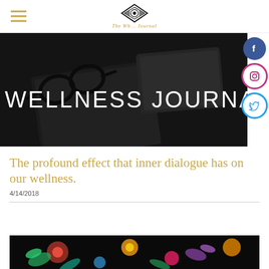The Wh... [logo] The Wh...
[Figure (screenshot): Dark background hero image showing glasses, notebook and a tablet on a dark surface, with 'WELLNESS JOURNAL' text overlay in large white uppercase letters]
[Figure (infographic): Social media icons on the right side: Facebook (dark blue circle), Instagram (circular with border), Twitter (circular with border)]
The profound effect that inner dialogue has on our wellness.
4/14/2018
[Figure (photo): Colorful butterfly and floral artwork on dark background, partially visible at the bottom of the page]